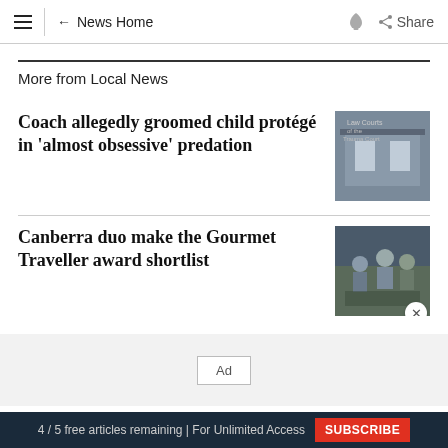≡  ← News Home  🔔  ⬡ Share
More from Local News
Coach allegedly groomed child protégé in 'almost obsessive' predation
[Figure (photo): Photo of a court building exterior with signage]
Canberra duo make the Gourmet Traveller award shortlist
[Figure (photo): Photo of people in a restaurant setting]
Ad
4 / 5 free articles remaining | For Unlimited Access  SUBSCRIBE